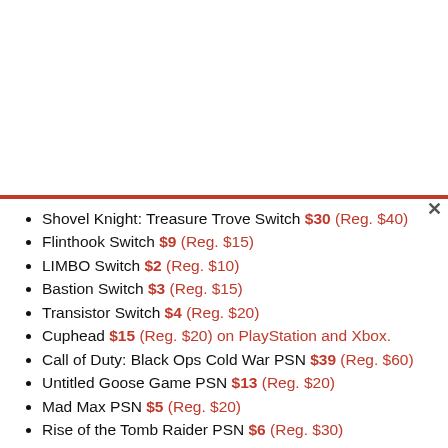Shovel Knight: Treasure Trove Switch $30 (Reg. $40)
Flinthook Switch $9 (Reg. $15)
LIMBO Switch $2 (Reg. $10)
Bastion Switch $3 (Reg. $15)
Transistor Switch $4 (Reg. $20)
Cuphead $15 (Reg. $20) on PlayStation and Xbox.
Call of Duty: Black Ops Cold War PSN $39 (Reg. $60)
Untitled Goose Game PSN $13 (Reg. $20)
Mad Max PSN $5 (Reg. $20)
Rise of the Tomb Raider PSN $6 (Reg. $30)
Marvel's Spider-Man GOTY PSN $20 (Reg. $40)
PSN Yakuza franchise sale from $5
EARTHLOCK Switch $6 (Reg. $30)